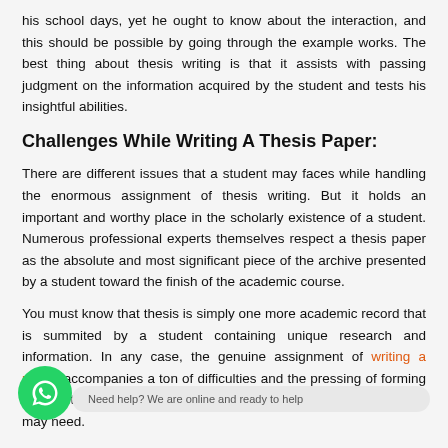his school days, yet he ought to know about the interaction, and this should be possible by going through the example works. The best thing about thesis writing is that it assists with passing judgment on the information acquired by the student and tests his insightful abilities.
Challenges While Writing A Thesis Paper:
There are different issues that a student may faces while handling the enormous assignment of thesis writing. But it holds an important and worthy place in the scholarly existence of a student. Numerous professional experts themselves respect a thesis paper as the absolute and most significant piece of the archive presented by a student toward the finish of the academic course.
You must know that thesis is simply one more academic record that is summited by a student containing unique research and information. In any case, the genuine assignment of writing a paper, accompanies a ton of difficulties and the pressing of forming an effectively made paper, which gets you the evaluations that you may need.